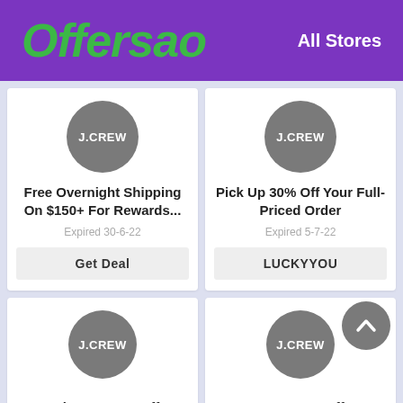Offersao  All Stores
[Figure (logo): J.CREW brand circle logo (grey circle with white text)]
Free Overnight Shipping On $150+ For Rewards...
Expired 30-6-22
Get Deal
[Figure (logo): J.CREW brand circle logo (grey circle with white text)]
Pick Up 30% Off Your Full-Priced Order
Expired 5-7-22
LUCKYYOU
[Figure (logo): J.CREW brand circle logo (grey circle with white text)]
Enjoy 50- 70% Off
[Figure (logo): J.CREW brand circle logo (grey circle with white text)]
Extra 15% Off